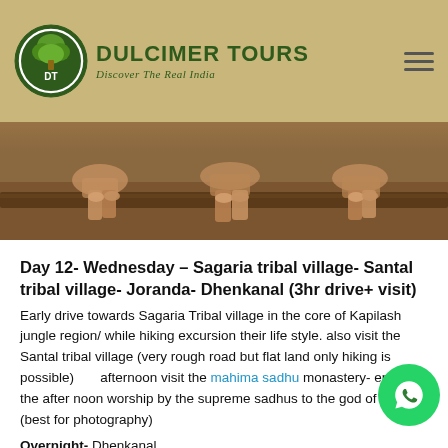DULCIMER TOURS — Discover The Real India
[Figure (photo): Partial photo of people in a tribal/monastery setting, hands and lower bodies visible on a stone floor]
Day 12- Wednesday – Sagaria tribal village- Santal tribal village- Joranda- Dhenkanal (3hr drive+ visit)
Early drive towards Sagaria Tribal village in the core of Kapilash jungle region/ while hiking excursion their life style. also visit the Santal tribal village (very rough road but flat land only hiking is possible)      afternoon visit the mahima sadhu monastery- enjoy the after noon worship by the supreme sadhus to the god of infinity (best for photography)
Overnight- Dhenkanal
Photography- Tribal Photography/ Documentary, Monument & Sadhus  photography